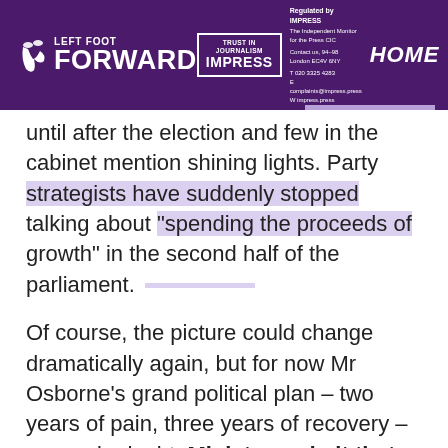Left Foot Forward | Trust in Journalism IMPRESS | HOME
until after the election and few in the cabinet mention shining lights. Party strategists have suddenly stopped talking about “spending the proceeds of growth” in the second half of the parliament.
Of course, the picture could change dramatically again, but for now Mr Osborne’s grand political plan – two years of pain, three years of recovery – seems in doubt. Ministers admit that come the election, the economy may